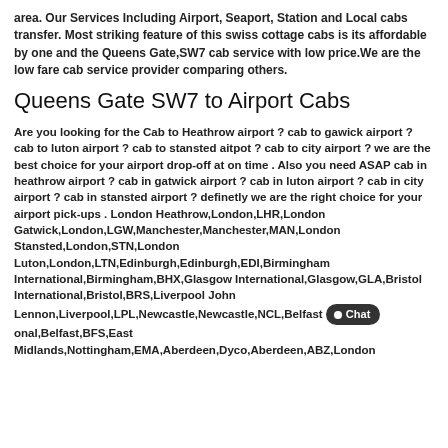area. Our Services Including Airport, Seaport, Station and Local cabs transfer. Most striking feature of this swiss cottage cabs is its affordable by one and the Queens Gate,SW7 cab service with low price.We are the low fare cab service provider comparing others.
Queens Gate SW7 to Airport Cabs
Are you looking for the Cab to Heathrow airport ? cab to gawick airport ? cab to luton airport ? cab to stansted aitpot ? cab to city airport ? we are the best choice for your airport drop-off at on time . Also you need ASAP cab in heathrow airport ? cab in gatwick airport ? cab in luton airport ? cab in city airport ? cab in stansted airport ? definetly we are the right choice for your airport pick-ups . London Heathrow,London,LHR,London Gatwick,London,LGW,Manchester,Manchester,MAN,London Stansted,London,STN,London Luton,London,LTN,Edinburgh,Edinburgh,EDI,Birmingham International,Birmingham,BHX,Glasgow International,Glasgow,GLA,Bristol International,Bristol,BRS,Liverpool John Lennon,Liverpool,LPL,Newcastle,Newcastle,NCL,Belfast [Chat] onal,Belfast,BFS,East Midlands,Nottingham,EMA,Aberdeen,Dyco,Aberdeen,ABZ,London